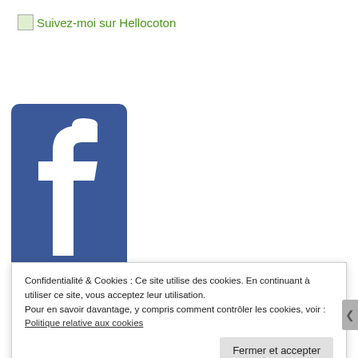[Figure (screenshot): Hellocoton follow link with small image placeholder and green text 'Suivez-moi sur Hellocoton']
[Figure (logo): Facebook logo — blue rounded rectangle with white lowercase 'f' lettermark]
Confidentialité & Cookies : Ce site utilise des cookies. En continuant à utiliser ce site, vous acceptez leur utilisation.
Pour en savoir davantage, y compris comment contrôler les cookies, voir :
Politique relative aux cookies
Fermer et accepter